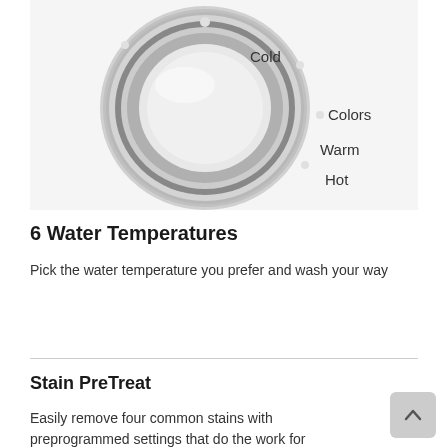[Figure (photo): Close-up photo of a washing machine temperature selector dial (silver/chrome knob) on a white panel, with labels visible: Colors, Warm, Hot]
6 Water Temperatures
Pick the water temperature you prefer and wash your way
Stain PreTreat
Easily remove four common stains with preprogrammed settings that do the work for